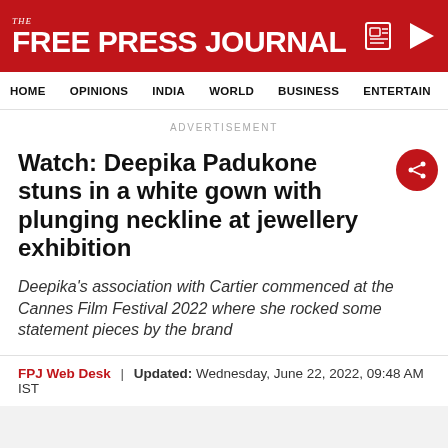THE FREE PRESS JOURNAL
HOME | OPINIONS | INDIA | WORLD | BUSINESS | ENTERTAIN
ADVERTISEMENT
Watch: Deepika Padukone stuns in a white gown with plunging neckline at jewellery exhibition
Deepika's association with Cartier commenced at the Cannes Film Festival 2022 where she rocked some statement pieces by the brand
FPJ Web Desk | Updated: Wednesday, June 22, 2022, 09:48 AM IST